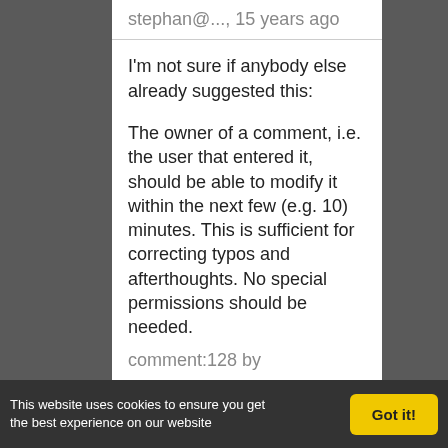stephan@..., 15 years ago
I'm not sure if anybody else already suggested this:
The owner of a comment, i.e. the user that entered it, should be able to modify it within the next few (e.g. 10) minutes. This is sufficient for correcting typos and afterthoughts. No special permissions should be needed.
comment:128 by
This website uses cookies to ensure you get the best experience on our website
Got it!